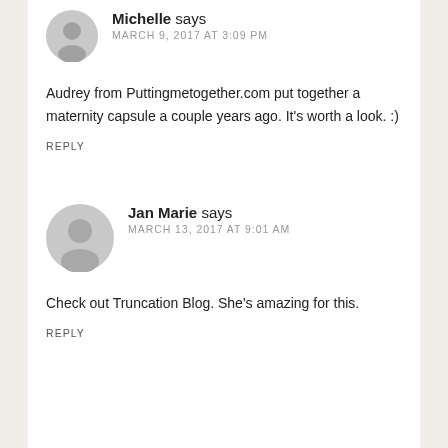Michelle says MARCH 9, 2017 AT 3:09 PM
Audrey from Puttingmetogether.com put together a maternity capsule a couple years ago. It’s worth a look. :)
REPLY
Jan Marie says MARCH 13, 2017 AT 9:01 AM
Check out Truncation Blog. She’s amazing for this.
REPLY